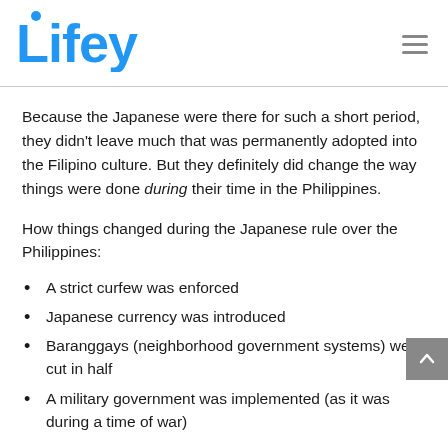Lifey
Because the Japanese were there for such a short period, they didn't leave much that was permanently adopted into the Filipino culture. But they definitely did change the way things were done during their time in the Philippines.
How things changed during the Japanese rule over the Philippines:
A strict curfew was enforced
Japanese currency was introduced
Baranggays (neighborhood government systems) were cut in half
A military government was implemented (as it was during a time of war)